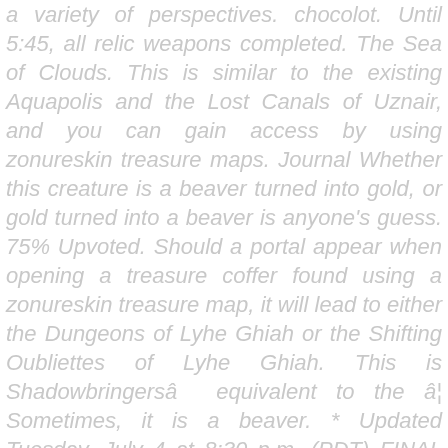a variety of perspectives. chocolot. Until 5:45, all relic weapons completed. The Sea of Clouds. This is similar to the existing Aquapolis and the Lost Canals of Uznair, and you can gain access by using zonureskin treasure maps. Journal Whether this creature is a beaver turned into gold, or gold turned into a beaver is anyone's guess. 75% Upvoted. Should a portal appear when opening a treasure coffer found using a zonureskin treasure map, it will lead to either the Dungeons of Lyhe Ghiah or the Shifting Oubliettes of Lyhe Ghiah. This is Shadowbringersâ  equivalent to the â¦ Sometimes, it is a beaver. * Updated Tuesday, July 4 at 8:30 p.m. (PDT) FINAL FANTASY XIV â¦ Achievements. merthurlooks. The Dungeons of Lyhe Ghiah, a special instance similar to the Aquapolis and the Lost Canals of Uznair, can be accessed after finding and opening treasure coffers obtained from zonureskin treasure maps. The Dungeons Of Lyhe Ghiah was released in patch 5.05 and is